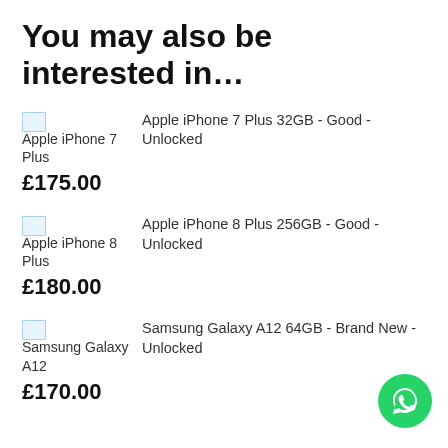You may also be interested in…
Apple iPhone 7 Plus 32GB - Good - Unlocked £175.00
Apple iPhone 8 Plus 256GB - Good - Unlocked £180.00
Samsung Galaxy A12 64GB - Brand New - Unlocked £170.00